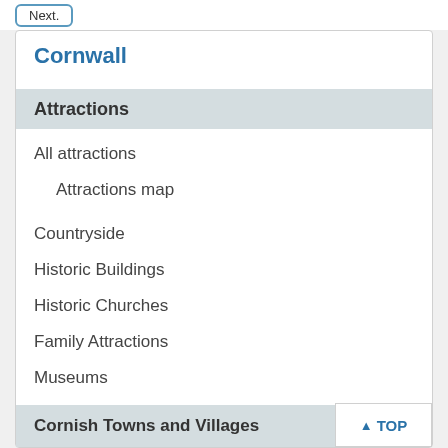Cornwall
Attractions
All attractions
Attractions map
Countryside
Historic Buildings
Historic Churches
Family Attractions
Museums
Cornish Towns and Villages